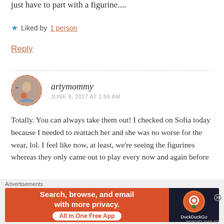just have to part with a figurine....
★ Liked by 1 person
Reply
artymommy
JUNE 8, 2017 AT 1:59 AM
Totally. You can always take them out! I checked on Sofia today because I needed to reattach her and she was no worse for the wear, lol. I feel like now, at least, we're seeing the figurines whereas they only came out to play every now and again before
Advertisements
Search, browse, and email with more privacy.
All in One Free App
DuckDuckGo